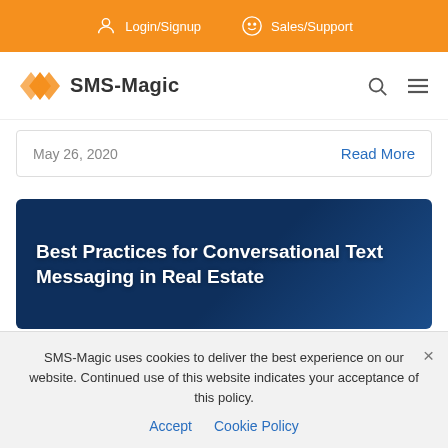Login/Signup  Sales/Support
[Figure (logo): SMS-Magic logo with orange hexagon arrows and text 'SMS-Magic', plus search and hamburger menu icons]
May 26, 2020
Read More
[Figure (illustration): Dark blue banner image with white bold text: 'Best Practices for Conversational Text Messaging in Real Estate']
SMS-Magic uses cookies to deliver the best experience on our website. Continued use of this website indicates your acceptance of this policy.
Accept  Cookie Policy